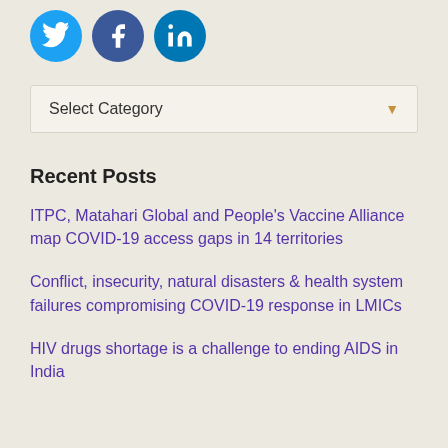[Figure (logo): Social media icons: Twitter (blue bird), Facebook (blue f), LinkedIn (blue in)]
Select Category
Recent Posts
ITPC, Matahari Global and People’s Vaccine Alliance map COVID-19 access gaps in 14 territories
Conflict, insecurity, natural disasters & health system failures compromising COVID-19 response in LMICs
HIV drugs shortage is a challenge to ending AIDS in India